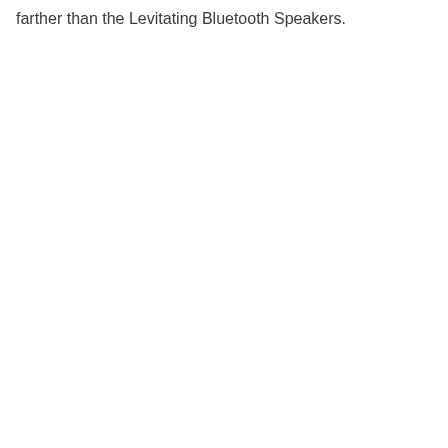farther than the Levitating Bluetooth Speakers.